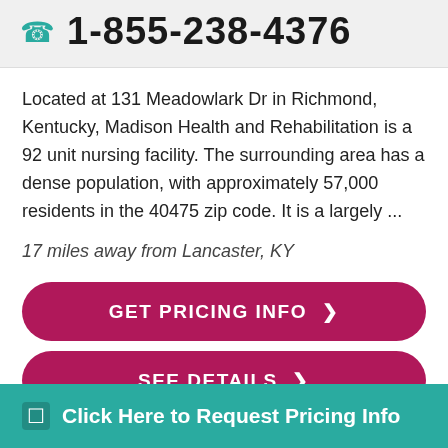1-855-238-4376
Located at 131 Meadowlark Dr in Richmond, Kentucky, Madison Health and Rehabilitation is a 92 unit nursing facility. The surrounding area has a dense population, with approximately 57,000 residents in the 40475 zip code. It is a largely ...
17 miles away from Lancaster, KY
GET PRICING INFO ❯
SEE DETAILS ❯
Click Here to Request Pricing Info